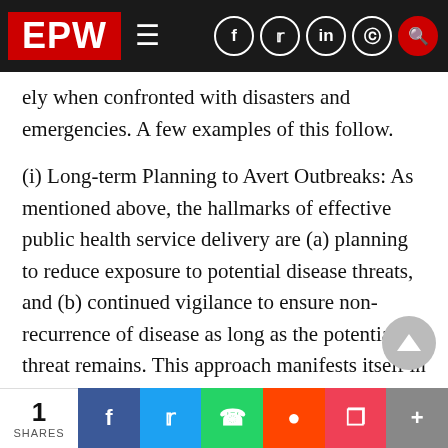EPW
ely when confronted with disasters and emergencies. A few examples of this follow.
(i) Long-term Planning to Avert Outbreaks: As mentioned above, the hallmarks of effective public health service delivery are (a) planning to reduce exposure to potential disease threats, and (b) continued vigilance to ensure non-recurrence of disease as long as the potential threat remains. This approach manifests itself in the anticipatory planning described above, undertaken annually to prepare for controlling disease in the wake of potential recurring natural disasters such as fl and cyclones. This seeks to avert a public heal
1 SHARES | f | t | whatsapp | reddit | pocket | +